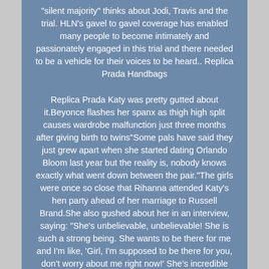"silent majority" thinks about Jodi, Travis and the trial. HLN's gavel to gavel coverage has enabled many people to become intimately and passionately engaged in this trial and there needed to be a vehicle for their voices to be heard.. Replica Prada Handbags
Replica Prada Katy was pretty gutted about it.Beyonce flashes her spanx as thigh high split causes wardrobe malfunction just three months after giving birth to twins"Some pals have said they just grew apart when she started dating Orlando Bloom last year but the reality is, nobody knows exactly what went down between the pair."The girls were once so close that Rihanna attended Katy's hen party ahead of her marriage to Russell Brand.She also gushed about her in an interview, saying: "She's unbelievable, unbelievable! She is such a strong being. She wants to be there for me and I'm like, 'Girl, I'm supposed to be there for you, don't worry about me right now!' She's incredible like that. She's one of my best friends in the industry."With Taylor Swift falling out with people faster than she can write